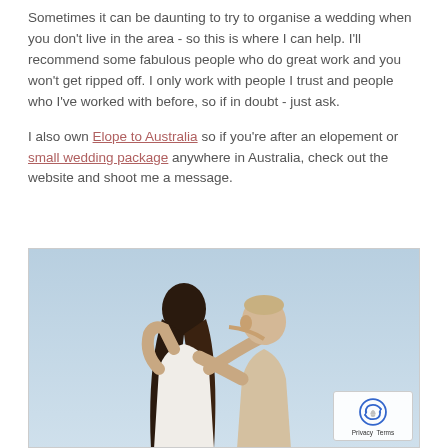Sometimes it can be daunting to try to organise a wedding when you don't live in the area - so this is where I can help. I'll recommend some fabulous people who do great work and you won't get ripped off. I only work with people I trust and people who I've worked with before, so if in doubt - just ask.
I also own Elope to Australia so if you're after an elopement or small wedding package anywhere in Australia, check out the website and shoot me a message.
[Figure (photo): A couple embracing and kissing outdoors against a light blue sky. The woman has long dark hair and the man has short light hair. The woman is wearing white.]